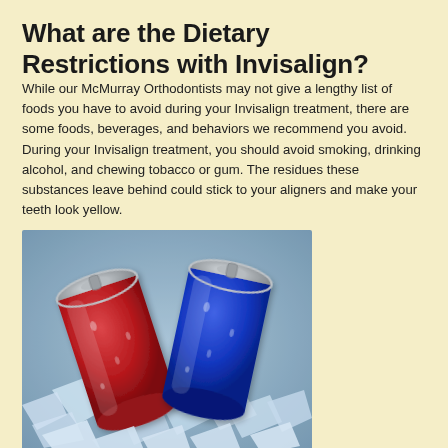What are the Dietary Restrictions with Invisalign?
While our McMurray Orthodontists may not give a lengthy list of foods you have to avoid during your Invisalign treatment, there are some foods, beverages, and behaviors we recommend you avoid. During your Invisalign treatment, you should avoid smoking, drinking alcohol, and chewing tobacco or gum. The residues these substances leave behind could stick to your aligners and make your teeth look yellow.
[Figure (photo): Photo of red and blue soda cans on ice]
We also recommend avoiding hard food because it can have a negative impact on the position of your teeth. Other foods, such as